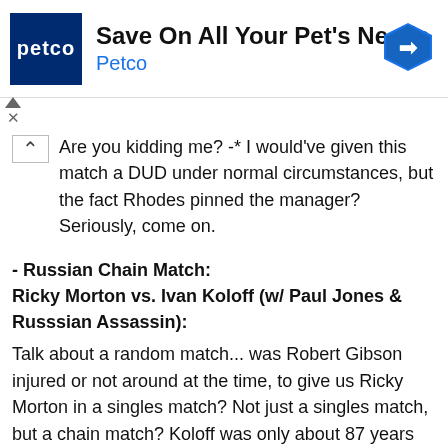[Figure (other): Petco advertisement banner with logo, headline 'Save On All Your Pet's Needs', brand name 'Petco', and a blue navigation arrow icon]
Are you kidding me? -* I would've given this match a DUD under normal circumstances, but the fact Rhodes pinned the manager? Seriously, come on.
- Russian Chain Match:
Ricky Morton vs. Ivan Koloff (w/ Paul Jones & Russsian Assassin):
Talk about a random match... was Robert Gibson injured or not around at the time, to give us Ricky Morton in a singles match? Not just a singles match, but a chain match? Koloff was only about 87 years old at this point, so it makes sense to keep featuring him on television. No, the masked Russian Assassin wasn't really Russian, either. It's humorous to think how rapidly Morton and Gibson aged. The ring announcer flubs his line, saying Chainsaw by mistake, and THAT would've been a great match. I bet